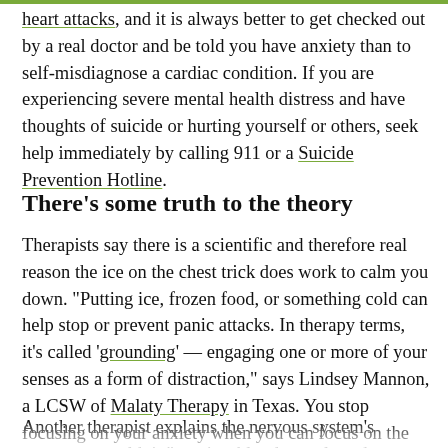heart attacks, and it is always better to get checked out by a real doctor and be told you have anxiety than to self-misdiagnose a cardiac condition. If you are experiencing severe mental health distress and have thoughts of suicide or hurting yourself or others, seek help immediately by calling 911 or a Suicide Prevention Hotline.
There's some truth to the theory
Therapists say there is a scientific and therefore real reason the ice on the chest trick does work to calm you down. "Putting ice, frozen food, or something cold can help stop or prevent panic attacks. In therapy terms, it's called 'grounding' — engaging one or more of your senses as a form of distraction," says Lindsey Mannon, a LCSW of Malaty Therapy in Texas. You stop focusing on your anxiety when you can focus on the cold instead.
Another therapist explains the nervous system's response to cold, it "restricts blood vessels and activates the...